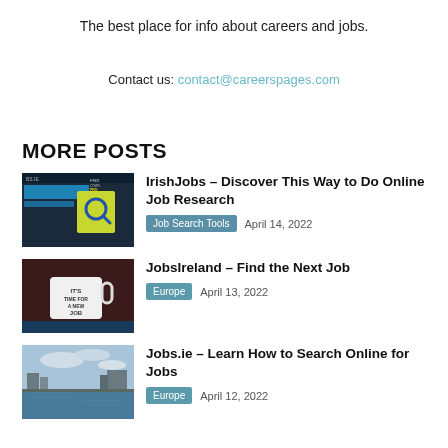The best place for info about careers and jobs.
Contact us: contact@careerspages.com
MORE POSTS
[Figure (screenshot): IrishJobs.ie website screenshot with search interface and magnifying glass icon]
IrishJobs – Discover This Way to Do Online Job Research
Job Search Tools   April 14, 2022
[Figure (photo): White mug on dark background with text 'It's time for a new job']
JobsIreland – Find the Next Job
Europe   April 13, 2022
[Figure (photo): City waterway with buildings and cloudy sky]
Jobs.ie – Learn How to Search Online for Jobs
Europe   April 12, 2022